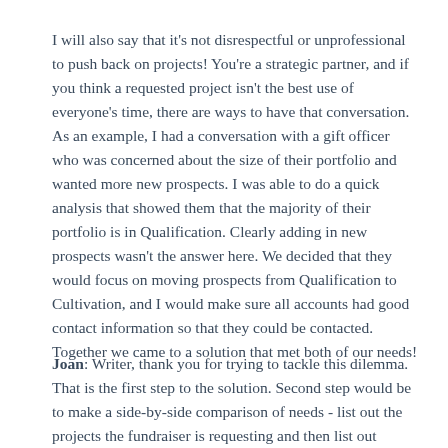I will also say that it's not disrespectful or unprofessional to push back on projects! You're a strategic partner, and if you think a requested project isn't the best use of everyone's time, there are ways to have that conversation. As an example, I had a conversation with a gift officer who was concerned about the size of their portfolio and wanted more new prospects. I was able to do a quick analysis that showed them that the majority of their portfolio is in Qualification. Clearly adding in new prospects wasn't the answer here. We decided that they would focus on moving prospects from Qualification to Cultivation, and I would make sure all accounts had good contact information so that they could be contacted. Together we came to a solution that met both of our needs!
Joan: Writer, thank you for trying to tackle this dilemma. That is the first step to the solution. Second step would be to make a side-by-side comparison of needs - list out the projects the fundraiser is requesting and then list out